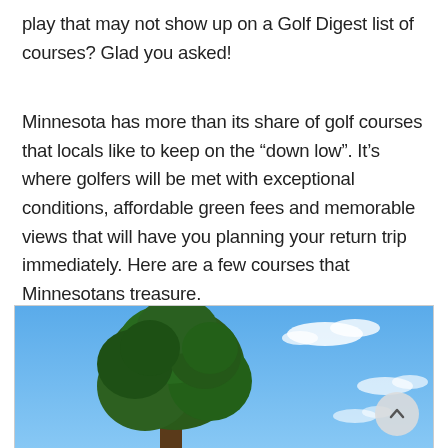play that may not show up on a Golf Digest list of courses? Glad you asked!
Minnesota has more than its share of golf courses that locals like to keep on the “down low”. It’s where golfers will be met with exceptional conditions, affordable green fees and memorable views that will have you planning your return trip immediately. Here are a few courses that Minnesotans treasure.
[Figure (photo): Outdoor photo showing a large tree with full green foliage against a bright blue sky with scattered white clouds. A circular back-to-top button is visible in the lower right corner of the image.]